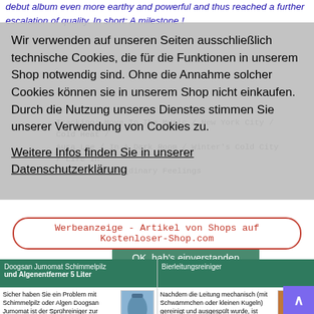debut album even more earthy and powerful and thus reached a further escalation of quality. In short: A milestone !
Tracking: Move To The Music / New York City / Cold Heat / Aura Lee / In A Dark Room / Winter's Cold City / Life In Space / Extraordinary Feelings
Wir verwenden auf unseren Seiten ausschließlich technische Cookies, die für die Funktionen in unserem Shop notwendig sind. Ohne die Annahme solcher Cookies können sie in unserem Shop nicht einkaufen. Durch die Nutzung unseres Dienstes stimmen Sie unserer Verwendung von Cookies zu.
Weitere Infos finden Sie in unserer Datenschutzerklärung
Werbeanzeige - Artikel von Shops auf Kostenloser-Shop.com
OK, hab's einverstanden
Doogsan Jumomat Schimmelpilz und Algenentferner 5 Liter
Bierleitungsreiniger
Sicher haben Sie ein Problem mit Schimmelpilz oder Algen Doogsan Jumomat ist der Sprühreiniger zur rückstandsfreien Beseitigung von ...zum Artikel
Nachdem die Leitung mechanisch (mit Schwämmchen oder kleinen Kugeln) gereinigt und ausgespült wurde, ist JUMOMAT hervorragend geeignet ...zum Artikel